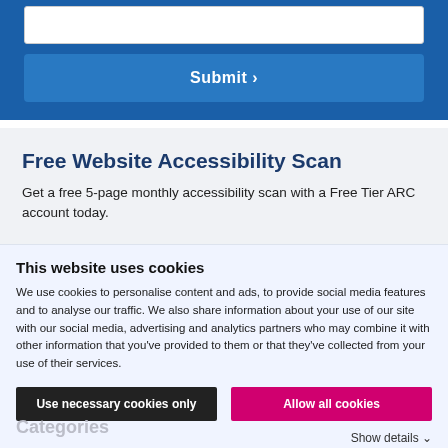[Figure (screenshot): Text input box at top of blue form area]
Submit ›
Free Website Accessibility Scan
Get a free 5-page monthly accessibility scan with a Free Tier ARC account today.
This website uses cookies
We use cookies to personalise content and ads, to provide social media features and to analyse our traffic. We also share information about your use of our site with our social media, advertising and analytics partners who may combine it with other information that you've provided to them or that they've collected from your use of their services.
Use necessary cookies only
Allow all cookies
Categories
Show details ˅